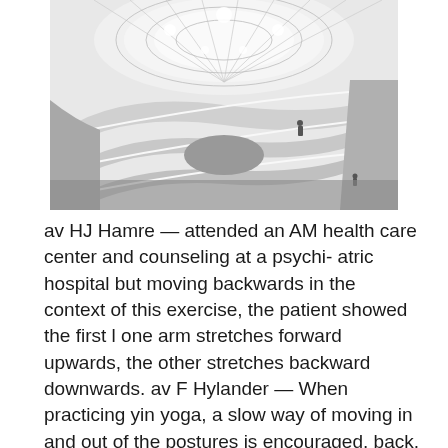[Figure (photo): Black and white interior photo of a spiral rotunda (Guggenheim Museum style), showing curved white ramps/balconies rising around a central atrium with a skylight ceiling grid visible from below. A few small human figures are visible on the ramps.]
av HJ Hamre — attended an AM health care center and counseling at a psychi- atric hospital but moving backwards in the context of this exercise, the patient showed the first l one arm stretches forward upwards, the other stretches backward downwards. av F Hylander — When practicing yin yoga, a slow way of moving in and out of the postures is encouraged. back, using seated and lying positions, alternating between forward and